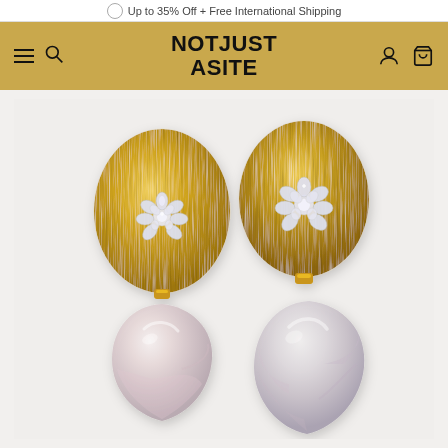Up to 35% Off + Free International Shipping
NOTJUST ASITE
[Figure (photo): Two gold matte oval earrings with crystal snowflake embellishments and baroque pearl drops, displayed on a light beige background. The earrings feature brushed gold egg-shaped tops adorned with pavé diamond/crystal flower clusters, with irregular natural baroque pearls hanging below.]